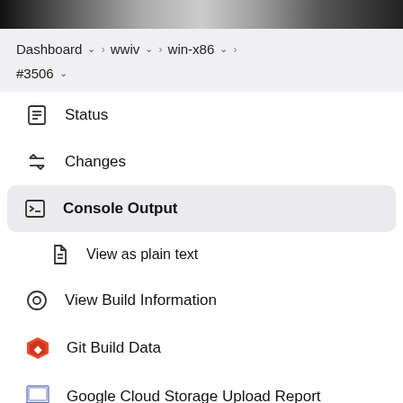[Figure (screenshot): Top photo strip showing blurred people/figures in black and white]
Dashboard > wwiv > win-x86 > #3506
Status
Changes
Console Output
View as plain text
View Build Information
Git Build Data
Google Cloud Storage Upload Report
Test Result